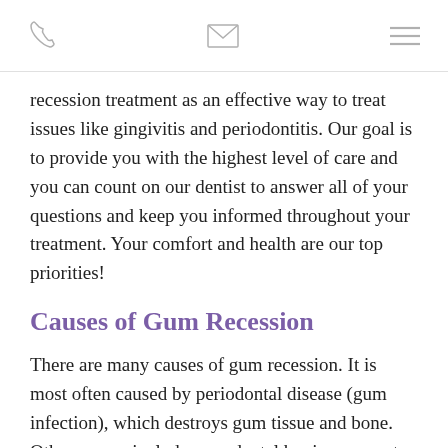[phone icon] [mail icon] [menu icon]
recession treatment as an effective way to treat issues like gingivitis and periodontitis. Our goal is to provide you with the highest level of care and you can count on our dentist to answer all of your questions and keep you informed throughout your treatment. Your comfort and health are our top priorities!
Causes of Gum Recession
There are many causes of gum recession. It is most often caused by periodontal disease (gum infection), which destroys gum tissue and bone. Other causes include poor dental hygiene, as not